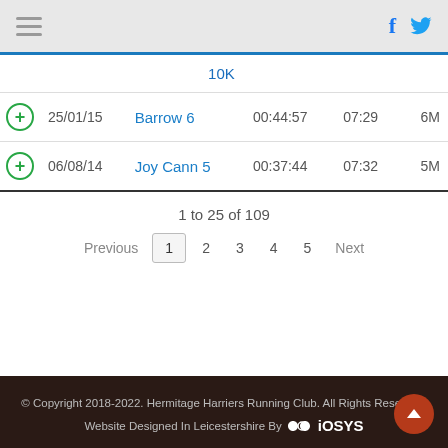Navigation bar with hamburger menu, Facebook and Twitter icons
|  | Date | Race | Time | Pace | Dist |
| --- | --- | --- | --- | --- | --- |
|  |  | 10K |  |  |  |
| + | 25/01/15 | Barrow 6 | 00:44:57 | 07:29 | 6M |
| + | 06/08/14 | Joy Cann 5 | 00:37:44 | 07:32 | 5M |
1 to 25 of 109
Previous  1  2  3  4  5  Next
© Copyright 2018-2022. Hermitage Harriers Running Club. All Rights Reserved. Website Designed In Leicestershire By iosys